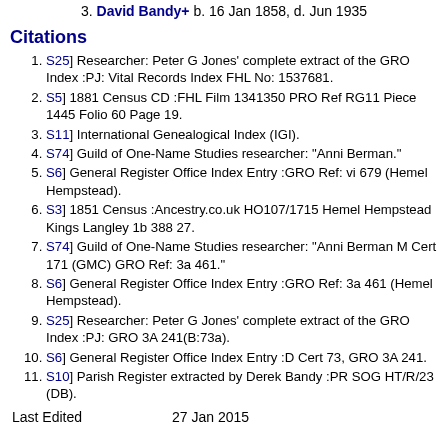3. David Bandy+ b. 16 Jan 1858, d. Jun 1935
Citations
1. [S25] Researcher: Peter G Jones' complete extract of the GRO Index :PJ: Vital Records Index FHL No: 1537681.
2. [S5] 1881 Census CD :FHL Film 1341350 PRO Ref RG11 Piece 1445 Folio 60 Page 19.
3. [S11] International Genealogical Index (IGI).
4. [S74] Guild of One-Name Studies researcher: "Anni Berman."
5. [S6] General Register Office Index Entry :GRO Ref: vi 679 (Hemel Hempstead).
6. [S3] 1851 Census :Ancestry.co.uk HO107/1715 Hemel Hempstead Kings Langley 1b 388 27.
7. [S74] Guild of One-Name Studies researcher: "Anni Berman M Cert 171 (GMC) GRO Ref: 3a 461."
8. [S6] General Register Office Index Entry :GRO Ref: 3a 461 (Hemel Hempstead).
9. [S25] Researcher: Peter G Jones' complete extract of the GRO Index :PJ: GRO 3A 241(B:73a).
10. [S6] General Register Office Index Entry :D Cert 73, GRO 3A 241.
11. [S10] Parish Register extracted by Derek Bandy :PR SOG HT/R/23 (DB).
Last Edited   27 Jan 2015